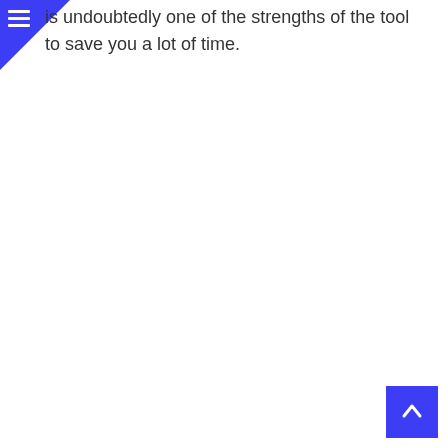is undoubtedly one of the strengths of the tool to save you a lot of time.
[Figure (other): Back to top scroll button in blue in bottom right corner]